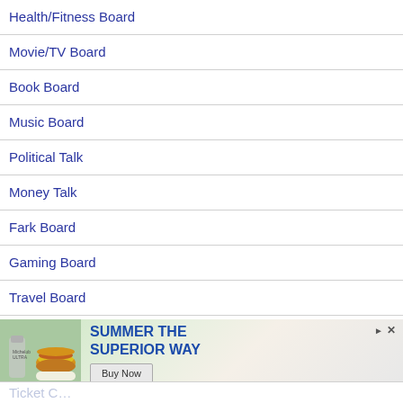Health/Fitness Board
Movie/TV Board
Book Board
Music Board
Political Talk
Money Talk
Fark Board
Gaming Board
Travel Board
Food/Di…
[Figure (photo): Advertisement banner showing a burger, Michelob Ultra beer, and text 'SUMMER THE SUPERIOR WAY' with a Buy Now button]
Ticket C…